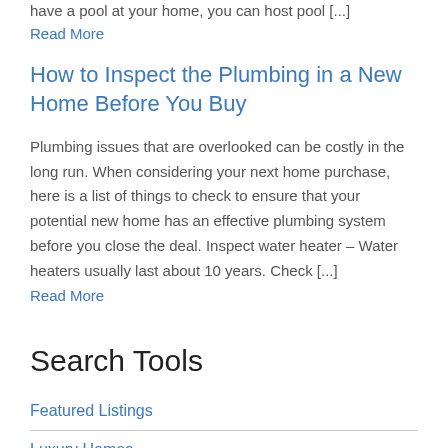have a pool at your home, you can host pool [...]
Read More
How to Inspect the Plumbing in a New Home Before You Buy
Plumbing issues that are overlooked can be costly in the long run. When considering your next home purchase, here is a list of things to check to ensure that your potential new home has an effective plumbing system before you close the deal. Inspect water heater – Water heaters usually last about 10 years. Check [...]
Read More
Search Tools
Featured Listings
Luxury Homes